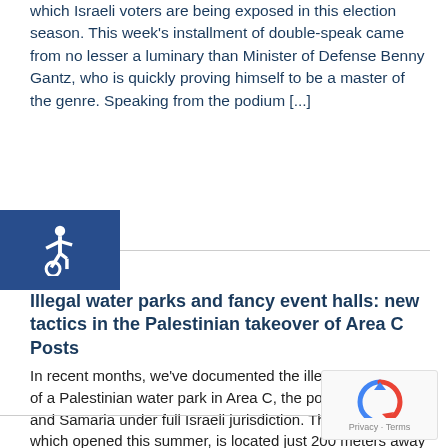which Israeli voters are being exposed in this election season. This week's installment of double-speak came from no lesser a luminary than Minister of Defense Benny Gantz, who is quickly proving himself to be a master of the genre. Speaking from the podium [...]
[Figure (illustration): Accessibility icon (wheelchair symbol) in white on a blue square background]
Illegal water parks and fancy event halls: new tactics in the Palestinian takeover of Area C Posts
In recent months, we've documented the illegal construction of a Palestinian water park in Area C, the portion of Judea and Samaria under full Israeli jurisdiction. The complex, which opened this summer, is located just 200 meters away from a major road in the heart of Area C, and has a large lawn, pools and [...]
[Figure (logo): Google reCAPTCHA widget with Privacy and Terms links]